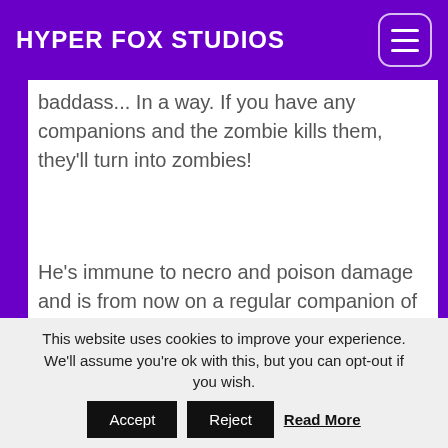HYPER FOX STUDIOS
baddass... In a way. If you have any companions and the zombie kills them, they'll turn into zombies!
He's immune to necro and poison damage and is from now on a regular companion of Doctor Plague.
[Figure (screenshot): Top-down pixel art game screenshot showing a character on a green and sandy terrain map with HUD elements including health bar, experience bar, and inventory slots in the top-right corner.]
This website uses cookies to improve your experience. We'll assume you're ok with this, but you can opt-out if you wish. Accept Reject Read More